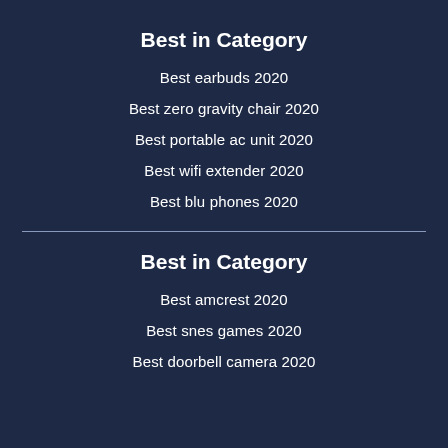Best in Category
Best earbuds 2020
Best zero gravity chair 2020
Best portable ac unit 2020
Best wifi extender 2020
Best blu phones 2020
Best in Category
Best amcrest 2020
Best snes games 2020
Best doorbell camera 2020